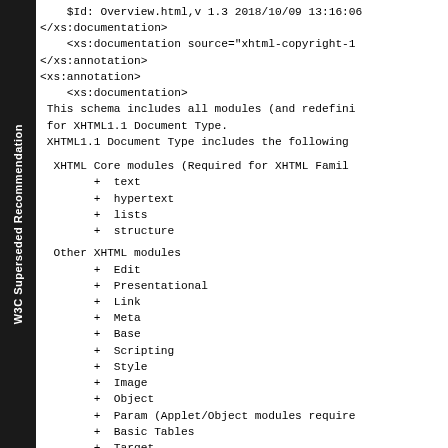W3C Superseded Recommendation
$Id: Overview.html,v 1.3 2018/10/09 13:16:06
</xs:documentation>
    <xs:documentation source="xhtml-copyright-1
</xs:annotation>
<xs:annotation>
    <xs:documentation>
 This schema includes all modules (and redefini
 for XHTML1.1 Document Type.
 XHTML1.1 Document Type includes the following
XHTML Core modules (Required for XHTML Famil
+ text
+ hypertext
+ lists
+ structure
Other XHTML modules
+ Edit
+ Presentational
+ Link
+ Meta
+ Base
+ Scripting
+ Style
+ Image
+ Object
+ Param (Applet/Object modules require
+ Basic Tables
+ Target
+ Basic Forms